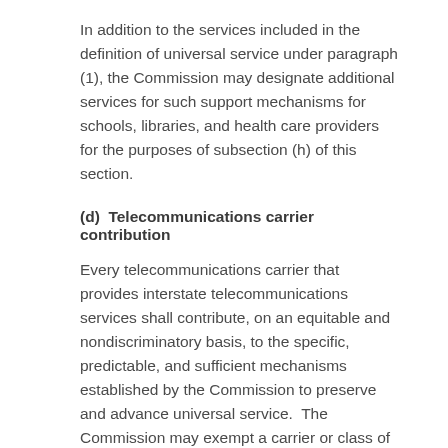In addition to the services included in the definition of universal service under paragraph (1), the Commission may designate additional services for such support mechanisms for schools, libraries, and health care providers for the purposes of subsection (h) of this section.
(d)  Telecommunications carrier contribution
Every telecommunications carrier that provides interstate telecommunications services shall contribute, on an equitable and nondiscriminatory basis, to the specific, predictable, and sufficient mechanisms established by the Commission to preserve and advance universal service.  The Commission may exempt a carrier or class of carriers from this requirement if the carrier's telecommunications activities are limited to such an